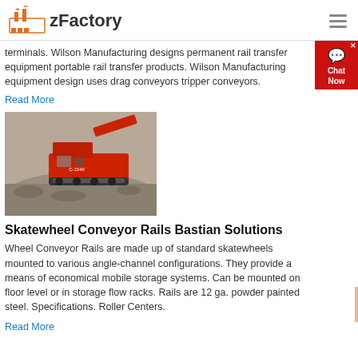zFactory
terminals. Wilson Manufacturing designs permanent rail transfer equipment portable rail transfer products. Wilson Manufacturing equipment design uses drag conveyors tripper conveyors.
Read More
[Figure (photo): Red industrial mobile crushing/screening machine on a gravel/aggregate pile at a quarry or mining site.]
Skatewheel Conveyor Rails Bastian Solutions
Wheel Conveyor Rails are made up of standard skatewheels mounted to various angle-channel configurations. They provide a means of economical mobile storage systems. Can be mounted on floor level or in storage flow racks. Rails are 12 ga. powder painted steel. Specifications. Roller Centers.
Read More